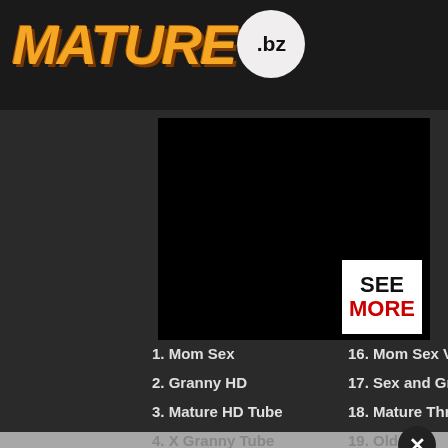[Figure (logo): MATURE.bz logo with orange graffiti-style MATURE text and .bz in a white circle]
[Figure (screenshot): Black video player area with a SEE MORE button in the bottom right corner]
1. Mom Sex
16. Mom Sex Videos
2. Granny HD
17. Sex and Granny
3. Mature HD Tube
18. Mature Three
4. X Granny Tube
19. Old Fold
5. Caramel Mature
20. Step Mom Porn
6. Fuck Old
21. Grandmom Porn Tube
7. Women 38 Plus
22. Mature Ladies